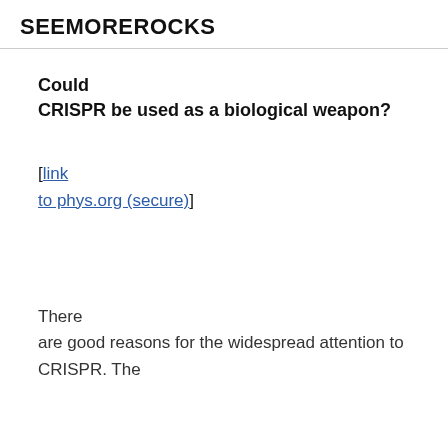SEEMOREROCKS
Could CRISPR be used as a biological weapon?
[link to phys.org (secure)]
There are good reasons for the widespread attention to CRISPR. The